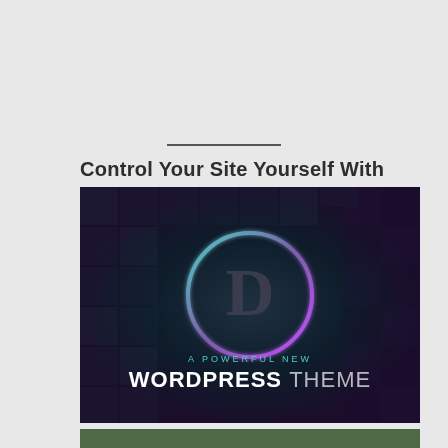Control Your Site Yourself With
[Figure (screenshot): Divi WordPress theme promotional banner. Dark pixelated background with a circular gradient logo (cyan to purple) containing the letter D in the center. Text below reads 'A POWERFUL NEW WORDPRESS THEME' in white and cyan letters.]
[Figure (photo): Partial view of a Canva promotional image with a dark green background, showing the Canva logo circle (teal/purple gradient) in the lower left corner.]